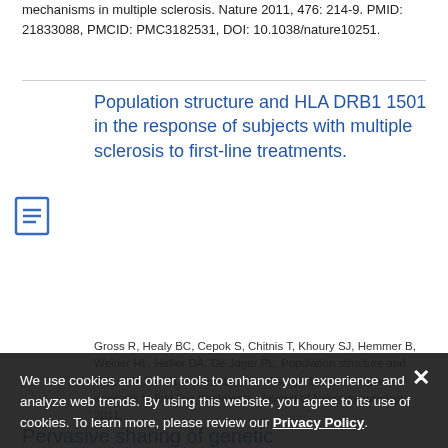mechanisms in multiple sclerosis. Nature 2011, 476: 214-9. PMID: 21833088, PMCID: PMC3182531, DOI: 10.1038/nature10251.
Population structure and HLA DRB1 1501 in the response of subjects with multiple sclerosis to first-line treatments.
Gross R, Healy BC, Cepok S, Chitnis T, Khoury SJ, Hemmer B, Weiner HL, Hafler DA, De Jager PL. Population structure and HLA DRB1 1501 in the response of subjects with multiple sclerosis to first-line treatments. Journal of Neuroimmunology 2011, ...
We use cookies and other tools to enhance your experience and analyze web trends. By using this website, you agree to its use of cookies. To learn more, please review our Privacy Policy.
Pervasive sharing of genetic